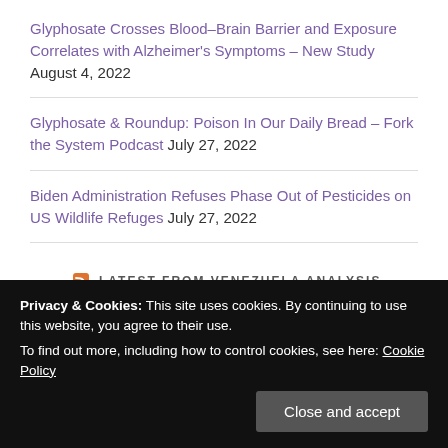Glyphosate Crosses Blood–Brain Barrier and Exposure Correlates with Alzheimer's Symptoms – New Study August 4, 2022
Glyphosate & Roundup: Poison In Our Daily Bread – Fork the System Podcast July 27, 2022
Biden Administration Refuses Phase Out of Pesticides on US Wildlife Refuges July 27, 2022
- LATEST FROM VENEZUELA ANALYSIS -
Venezuelan Central Bank Scrambles to Control Soaring Exchange Rate August 27, 2022 Ricardo Vaz
US Judge Upholds ConocoPhillips $8.5B Award; Venezuela
Privacy & Cookies: This site uses cookies. By continuing to use this website, you agree to their use. To find out more, including how to control cookies, see here: Cookie Policy